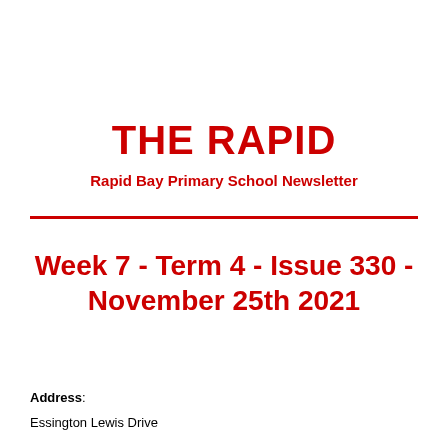THE RAPID
Rapid Bay Primary School Newsletter
Week 7 - Term 4 - Issue 330 - November 25th 2021
Address: Essington Lewis Drive